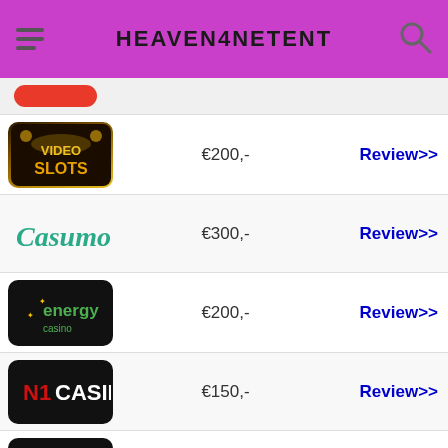HEAVEN4NETENT
| Casino | Bonus | Link |
| --- | --- | --- |
| VideoSlots | €200,- | Review>> |
| Casumo | €300,- | Review>> |
| Energy Casino | €200,- | Review>> |
| N1 Casino | €150,- | Review>> |
| Betsafe | €50,- | Review>> |
| (partial) | €333,- | Review>> |